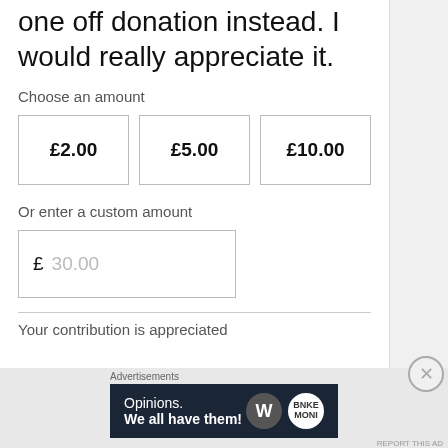one off donation instead. I would really appreciate it.
Choose an amount
[Figure (other): Three donation amount buttons: £2.00, £5.00, £10.00]
Or enter a custom amount
[Figure (other): Custom amount input box with placeholder £ 30.00]
Your contribution is appreciated
Advertisements
[Figure (infographic): Dark navy advertisement banner: Opinions. We all have them! with WordPress W logo and another circular icon]